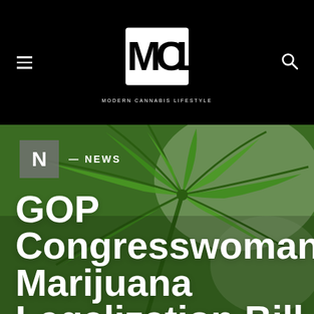Modern Cannabis Lifestyle — logo header with menu and search icons
[Figure (photo): Close-up photo of a green cannabis/marijuana leaf with radiating leaflets, blurred background]
N — NEWS
GOP Congresswoman's Marijuana Legalization Bill Draws Fire From